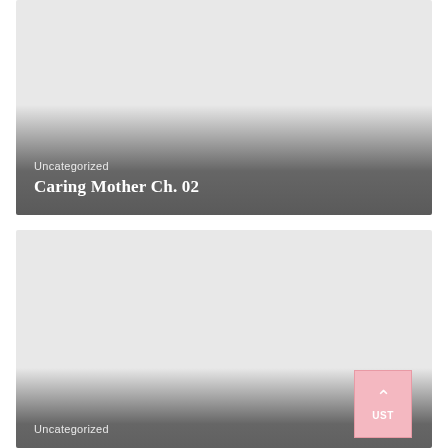[Figure (illustration): Card thumbnail with gradient overlay showing category label and title. Category: Uncategorized. Title: Caring Mother Ch. 02]
Uncategorized
Caring Mother Ch. 02
[Figure (illustration): Second card thumbnail with gradient overlay at bottom, partially visible category text 'Uncategorized', and a pink UST button with upward chevron in bottom right corner]